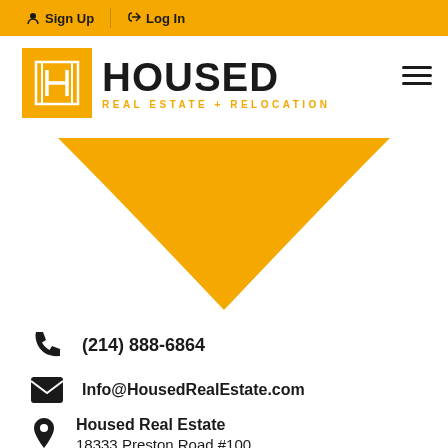Sign Up | Log In
[Figure (logo): Housed Real Estate + Relocation logo with yellow H icon and hamburger menu]
[Figure (illustration): Large yellow circular arc / bowl shape decorative element]
(214) 888-6864
Info@HousedRealEstate.com
Housed Real Estate
18333 Preston Road #100